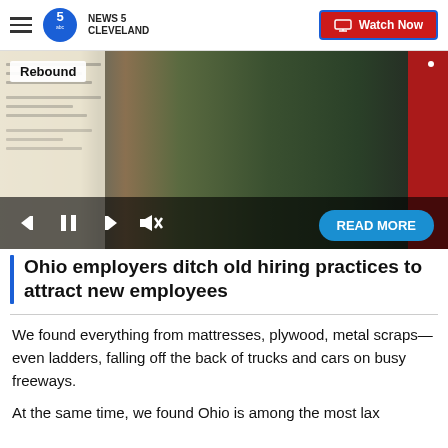NEWS 5 CLEVELAND | Watch Now
[Figure (screenshot): Video player showing a job fair scene with a person in a dark green polo shirt. A 'Rebound' badge is visible in the top left. Video controls (skip back, pause, skip forward, mute) are visible at the bottom, along with a 'READ MORE' button.]
Ohio employers ditch old hiring practices to attract new employees
We found everything from mattresses, plywood, metal scraps—even ladders, falling off the back of trucks and cars on busy freeways.
At the same time, we found Ohio is among the most lax